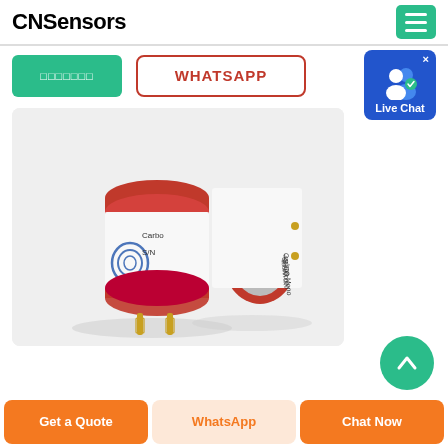CNSensors
□□□□□□□
WHATSAPP
[Figure (photo): Two cylindrical carbon monoxide (CO) gas sensors with red tops and gold pins, labeled 'Carbon Mono 4S-CO' with serial numbers, made in UK by SST brand]
Get a Quote
WhatsApp
Chat Now